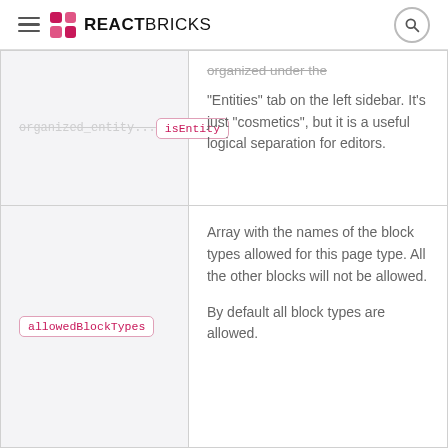REACTBRICKS
| Property | Description |
| --- | --- |
| isEntity | organized under the "Entities" tab on the left sidebar. It's just "cosmetics", but it is a useful logical separation for editors. |
| allowedBlockTypes | Array with the names of the block types allowed for this page type. All the other blocks will not be allowed.

By default all block types are allowed. |